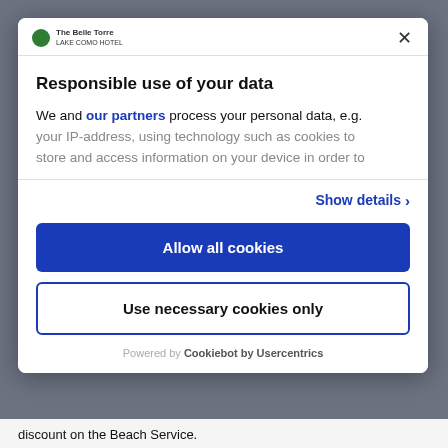[Figure (screenshot): Website logo with green globe icon and text 'The Belle Torre']
Responsible use of your data
We and our partners process your personal data, e.g. your IP-address, using technology such as cookies to store and access information on your device in order to
Show details >
Allow all cookies
Use necessary cookies only
Powered by Cookiebot by Usercentrics
discount on the Beach Service.